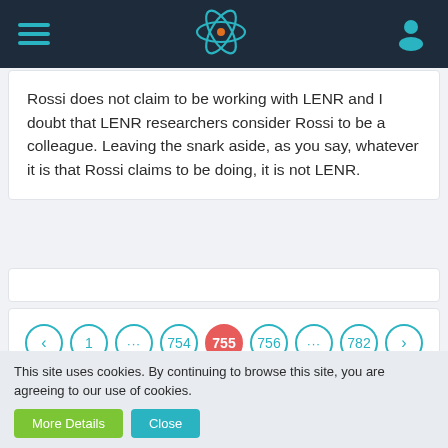Navigation header with hamburger menu, atom logo, and user icon
Rossi does not claim to be working with LENR and I doubt that LENR researchers consider Rossi to be a colleague. Leaving the snark aside, as you say, whatever it is that Rossi claims to be doing, it is not LENR.
Pagination: < 1 ... 754 755 756 ... 782 >
Share
Share buttons: Facebook, Twitter, Reddit, WhatsApp, LinkedIn, Pinterest, Xing
This site uses cookies. By continuing to browse this site, you are agreeing to our use of cookies.